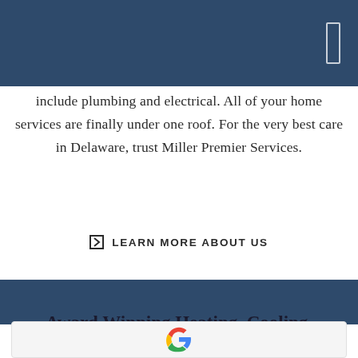include plumbing and electrical. All of your home services are finally under one roof. For the very best care in Delaware, trust Miller Premier Services.
LEARN MORE ABOUT US
Award Winning Heating, Cooling, Plumbing, and Electrical Services
[Figure (logo): Google G logo]